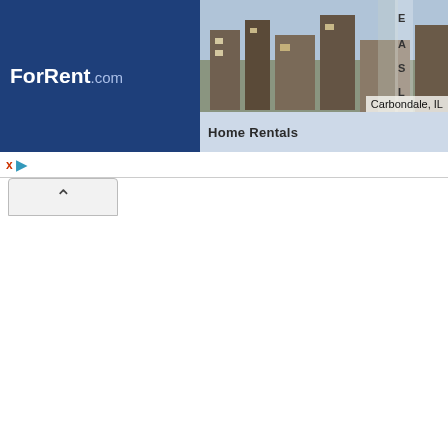ForRent.com
[Figure (screenshot): ForRent.com website header with logo, photos of rental properties in Carbondale IL and Cheyenne WY, Home Rentals and West Winds listings]
comptoir en granite. 2 chambres a coucher - 1200 pieds carrees. Tous les electromengers haute-gamme inclus - Metro Place des Arts a quelques pas. ~ ~ ~ ~ ~ ~ ~ ~ ~ ~ ~ ~ ~ ~ ~ ~ ~ ~ ~ ~ ~ ~ ~ ~ ~ ~ ~ ~ ~
Luxurious and beautif...
Furnished | Pets ok | Cats ok | Smoking ok | Parking Included
This Montreal Apartment is approximately 0.6 km from H2Z 1W7
Very nice condo 3
2 Be
Apa